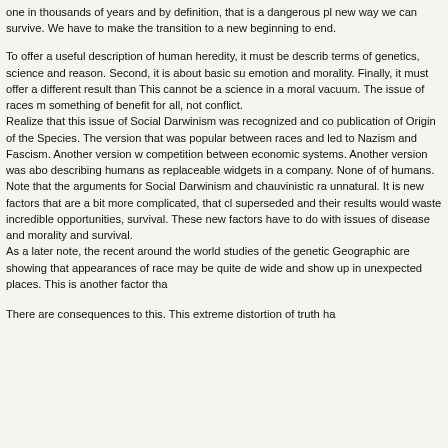one in thousands of years and by definition, that is a dangerous pl new way we can survive. We have to make the transition to a new beginning to end.
To offer a useful description of human heredity, it must be describ terms of genetics, science and reason. Second, it is about basic su emotion and morality. Finally, it must offer a different result than This cannot be a science in a moral vacuum. The issue of races m something of benefit for all, not conflict. Realize that this issue of Social Darwinism was recognized and co publication of Origin of the Species. The version that was popular between races and led to Nazism and Fascism. Another version w competition between economic systems. Another version was abo describing humans as replaceable widgets in a company. None of of humans. Note that the arguments for Social Darwinism and chauvinistic ra unnatural. It is new factors that are a bit more complicated, that cl superseded and their results would waste incredible opportunities, survival. These new factors have to do with issues of disease and morality and survival. As a later note, the recent around the world studies of the genetic Geographic are showing that appearances of race may be quite de wide and show up in unexpected places. This is another factor tha
There are consequences to this. This extreme distortion of truth ha